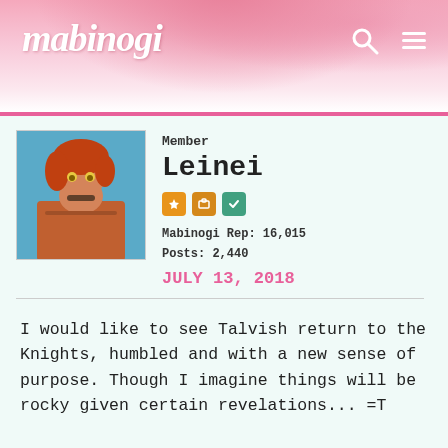mabinogi
Member
Leinei
Mabinogi Rep: 16,015
Posts: 2,440
JULY 13, 2018
I would like to see Talvish return to the Knights, humbled and with a new sense of purpose. Though I imagine things will be rocky given certain revelations... =T
Member